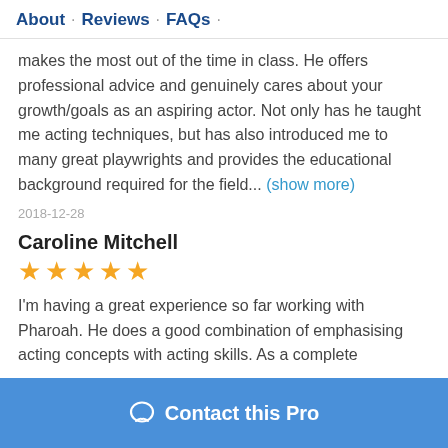About · Reviews · FAQs ·
makes the most out of the time in class. He offers professional advice and genuinely cares about your growth/goals as an aspiring actor. Not only has he taught me acting techniques, but has also introduced me to many great playwrights and provides the educational background required for the field... (show more)
2018-12-28
Caroline Mitchell
★★★★★
I'm having a great experience so far working with Pharoah. He does a good combination of emphasising acting concepts with acting skills. As a complete
Contact this Pro